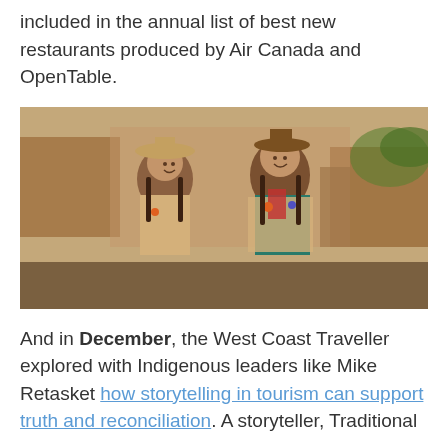included in the annual list of best new restaurants produced by Air Canada and OpenTable.
[Figure (photo): Two people smiling outdoors in front of a wooden log building. Both are wearing traditional Indigenous-style fringed vests with beaded floral designs. The person on the left wears a wide-brimmed tan hat and has braids; the person on the right wears a brown hat, a teal shirt, and a red scarf, also with braids.]
And in December, the West Coast Traveller explored with Indigenous leaders like Mike Retasket how storytelling in tourism can support truth and reconciliation. A storyteller, Traditional